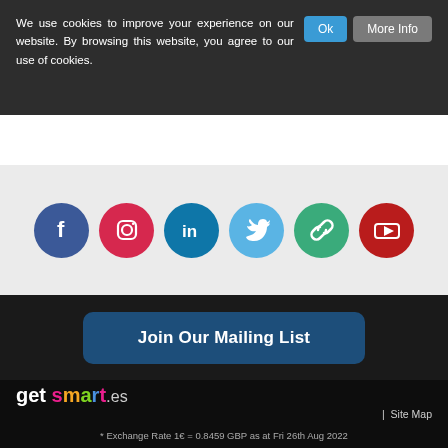We use cookies to improve your experience on our website. By browsing this website, you agree to our use of cookies.
[Figure (infographic): Social media icons row: Facebook (blue circle), Instagram (red circle), LinkedIn (dark blue circle), Twitter (light blue circle), Link/chain (green circle), YouTube (red circle)]
Join Our Mailing List
[Figure (logo): get smart.es logo with colorful letters]
| Site Map
* Exchange Rate 1€ = 0.8459 GBP as at Fri 26th Aug 2022